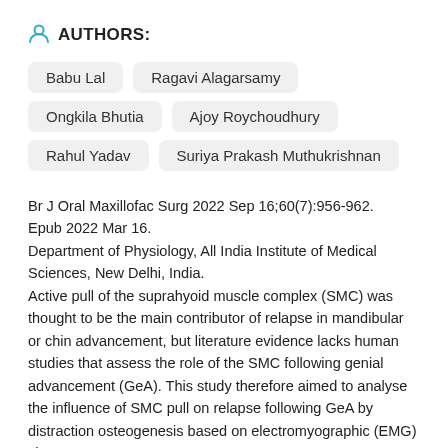AUTHORS:
Babu Lal
Ragavi Alagarsamy
Ongkila Bhutia
Ajoy Roychoudhury
Rahul Yadav
Suriya Prakash Muthukrishnan
Br J Oral Maxillofac Surg 2022 Sep 16;60(7):956-962. Epub 2022 Mar 16.
Department of Physiology, All India Institute of Medical Sciences, New Delhi, India.
Active pull of the suprahyoid muscle complex (SMC) was thought to be the main contributor of relapse in mandibular or chin advancement, but literature evidence lacks human studies that assess the role of the SMC following genial advancement (GeA). This study therefore aimed to analyse the influence of SMC pull on relapse following GeA by distraction osteogenesis based on electromyographic (EMG) changes. EMG was